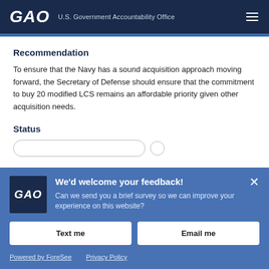GAO U.S. Government Accountability Office
Recommendation
To ensure that the Navy has a sound acquisition approach moving forward, the Secretary of Defense should ensure that the commitment to buy 20 modified LCS remains an affordable priority given other acquisition needs.
Status
[Figure (screenshot): Feedback survey overlay banner with GAO logo, 'We'd welcome your feedback!' heading, survey invitation text, Text me and Email me buttons, and Powered by ForeSee / Privacy Policy links.]